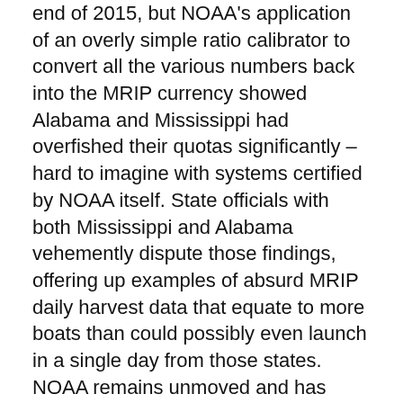end of 2015, but NOAA's application of an overly simple ratio calibrator to convert all the various numbers back into the MRIP currency showed Alabama and Mississippi had overfished their quotas significantly – hard to imagine with systems certified by NOAA itself. State officials with both Mississippi and Alabama vehemently dispute those findings, offering up examples of absurd MRIP daily harvest data that equate to more boats than could possibly even launch in a single day from those states. NOAA remains unmoved and has pressed to reduce Alabama's and Mississippi's quotas by roughly 60 percent going forward. Astonishingly, paying back the alleged overages could eliminate snapper season in both states for years.
The Gulf of Mexico Fishery Management Council took the only logical course of action available last June when it refused to consider recalibration until 2023, when all information can be fed into an official benchmark stock assessment, including the Great Red Snapper Count, a groundbreaking independent study of